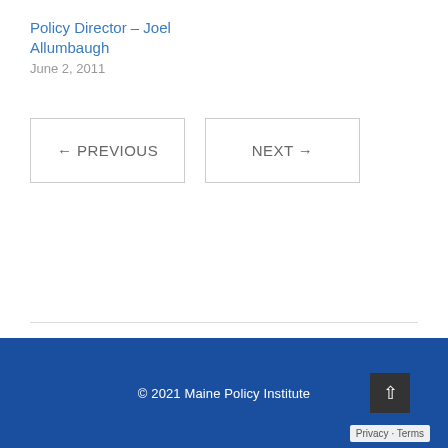Policy Director – Joel Allumbaugh
June 2, 2011
← PREVIOUS    NEXT →
© 2021 Maine Policy Institute